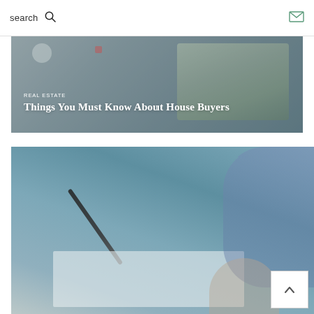search
[Figure (photo): Real estate article card showing a miniature house model on a green lawn with text overlay reading REAL ESTATE and Things You Must Know About House Buyers]
REAL ESTATE
Things You Must Know About House Buyers
[Figure (photo): Close-up photo of a person wearing a blue shirt holding a pen and signing or writing on documents on a desk]